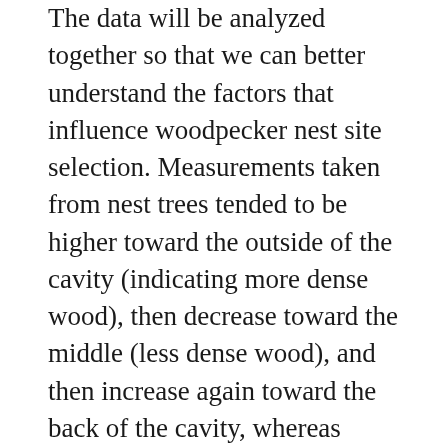The data will be analyzed together so that we can better understand the factors that influence woodpecker nest site selection. Measurements taken from nest trees tended to be higher toward the outside of the cavity (indicating more dense wood), then decrease toward the middle (less dense wood), and then increase again toward the back of the cavity, whereas measurements from trees that were not used for nesting were consistently high along all increments of the drilled hole. Fascinating!